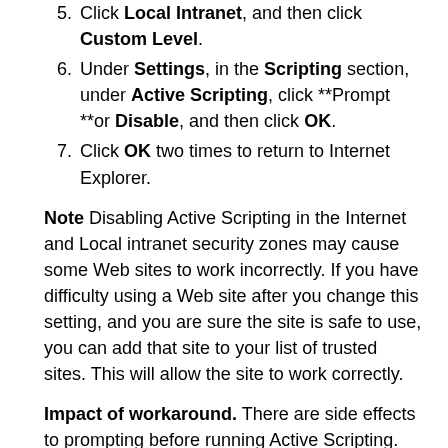5. Click Local Intranet, and then click Custom Level.
6. Under Settings, in the Scripting section, under Active Scripting, click **Prompt **or Disable, and then click OK.
7. Click OK two times to return to Internet Explorer.
Note Disabling Active Scripting in the Internet and Local intranet security zones may cause some Web sites to work incorrectly. If you have difficulty using a Web site after you change this setting, and you are sure the site is safe to use, you can add that site to your list of trusted sites. This will allow the site to work correctly.
Impact of workaround. There are side effects to prompting before running Active Scripting. Many Web sites that are on the Internet or on an intranet use Active Scripting to provide additional functionality. For